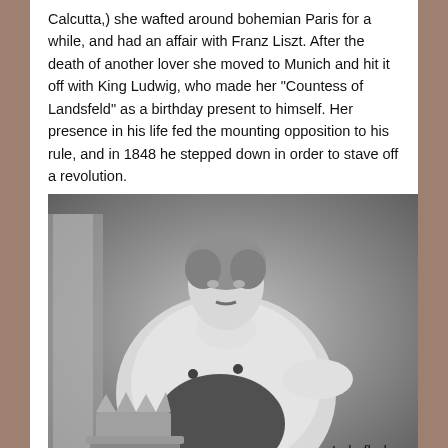Calcutta,) she wafted around bohemian Paris for a while, and had an affair with Franz Liszt. After the death of another lover she moved to Munich and hit it off with King Ludwig, who made her “Countess of Landsfeld” as a birthday present to himself. Her presence in his life fed the mounting opposition to his rule, and in 1848 he stepped down in order to stave off a revolution.
[Figure (photo): Black and white portrait photograph or painting of King Ludwig I of Bavaria in royal regalia, wearing an ermine-trimmed robe and formal attire, with a crown visible beside him.]
Lola fled